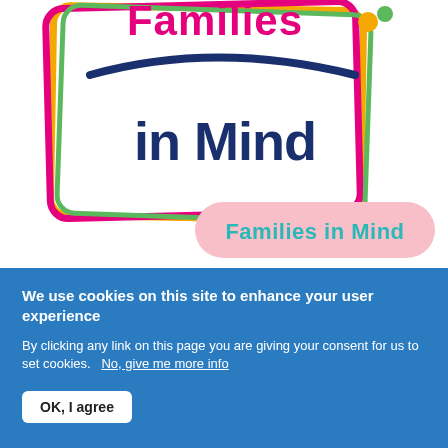[Figure (logo): Families in Mind logo: colourful hand-drawn style rectangle outline in pink, orange, green with the text 'Families in Mind' in dark navy blue cursive/rounded font inside. Below the rectangle, a pink rounded pill/badge with 'Families in Mind' in teal bold text.]
We use cookies on this site to enhance your user experience
By clicking any link on this page you are giving your consent for us to set cookies.   No, give me more info
OK, I agree